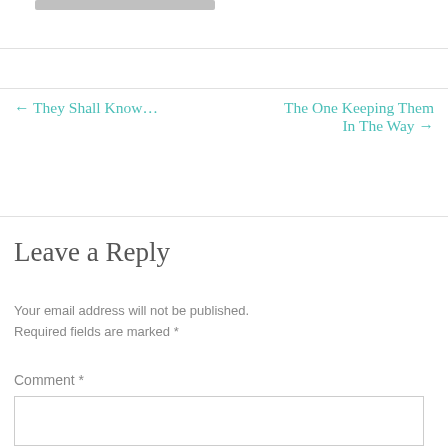[Figure (other): Partial screenshot of a grey button or bar element at the top of the page]
← They Shall Know...
The One Keeping Them In The Way →
Leave a Reply
Your email address will not be published. Required fields are marked *
Comment *